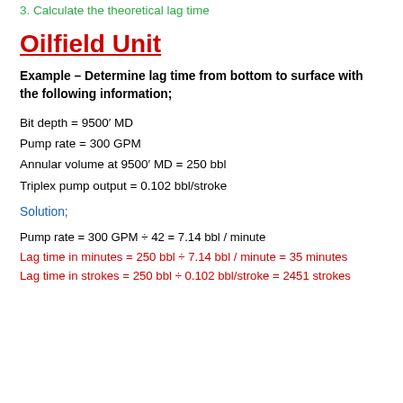3. Calculate the theoretical lag time
Oilfield Unit
Example – Determine lag time from bottom to surface with the following information;
Bit depth = 9500′ MD
Pump rate = 300 GPM
Annular volume at 9500′ MD = 250 bbl
Triplex pump output = 0.102 bbl/stroke
Solution;
Pump rate = 300 GPM ÷ 42 = 7.14 bbl / minute
Lag time in minutes = 250 bbl ÷ 7.14 bbl / minute = 35 minutes
Lag time in strokes = 250 bbl ÷ 0.102 bbl/stroke = 2451 strokes